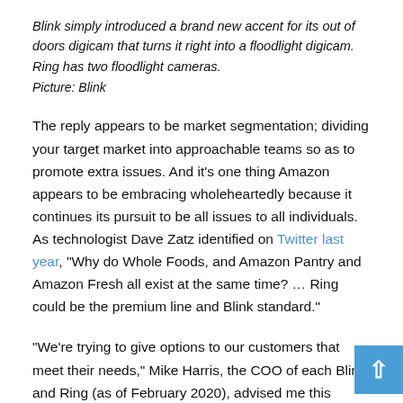Blink simply introduced a brand new accent for its out of doors digicam that turns it right into a floodlight digicam. Ring has two floodlight cameras.
Picture: Blink
The reply appears to be market segmentation; dividing your target market into approachable teams so as to promote extra issues. And it's one thing Amazon appears to be embracing wholeheartedly because it continues its pursuit to be all issues to all individuals. As technologist Dave Zatz identified on Twitter last year, “Why do Whole Foods, and Amazon Pantry and Amazon Fresh all exist at the same time? … Ring could be the premium line and Blink standard.”
“We’re trying to give options to our customers that meet their needs,” Mike Harris, the COO of each Blink and Ring (as of February 2020), advised me this week. “There’s such a wide variety of consumers out there and they have different wants and